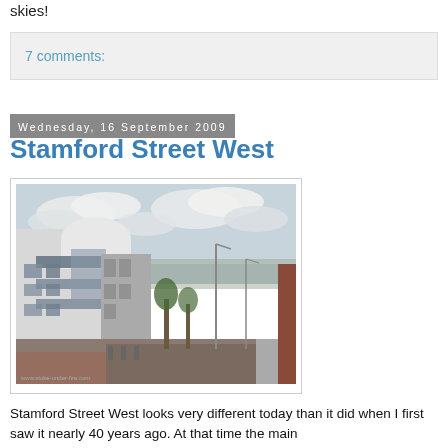skies!
7 comments:
Wednesday, 16 September 2009
Stamford Street West
[Figure (photo): Street-level photograph of Stamford Street West showing a modern curved white and grey building on the left with large windows and balconies, a wide road with red brick pavement, street lighting poles, trees in the background, and overcast sky.]
Stamford Street West looks very different today than it did when I first saw it nearly 40 years ago. At that time the main